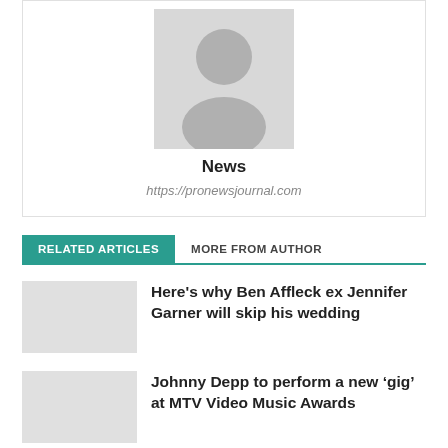[Figure (illustration): Gray placeholder avatar icon showing a person silhouette]
News
https://pronewsjournal.com
RELATED ARTICLES   MORE FROM AUTHOR
Here's why Ben Affleck ex Jennifer Garner will skip his wedding
Johnny Depp to perform a new ‘gig’ at MTV Video Music Awards